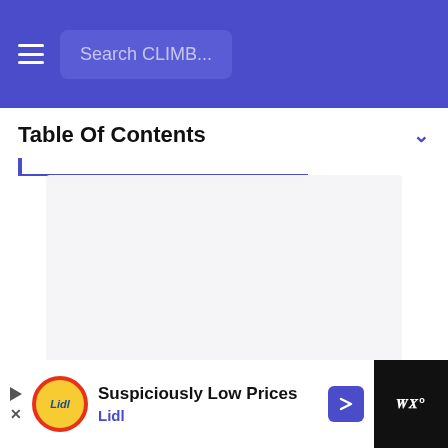Search CLIMB...
Table Of Contents
[Figure (screenshot): Empty content area with light grey background, showing a loading state with three grey dots in the center]
[Figure (infographic): Lidl advertisement banner with text 'Suspiciously Low Prices' and brand name 'Lidl', featuring Lidl circular logo and a navigation arrow icon]